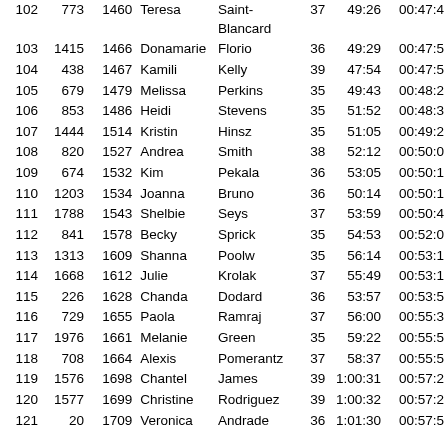| Place | Bib | Gun# | First | Last | Age | Chip | Pace |
| --- | --- | --- | --- | --- | --- | --- | --- |
| 102 | 773 | 1460 | Teresa | Saint-Blancard | 37 | 49:26 | 00:47:4 |
| 103 | 1415 | 1466 | Donamarie | Florio | 36 | 49:29 | 00:47:5 |
| 104 | 438 | 1467 | Kamili | Kelly | 39 | 47:54 | 00:47:5 |
| 105 | 679 | 1479 | Melissa | Perkins | 35 | 49:43 | 00:48:2 |
| 106 | 853 | 1486 | Heidi | Stevens | 35 | 51:52 | 00:48:3 |
| 107 | 1444 | 1514 | Kristin | Hinsz | 35 | 51:05 | 00:49:2 |
| 108 | 820 | 1527 | Andrea | Smith | 38 | 52:12 | 00:50:0 |
| 109 | 674 | 1532 | Kim | Pekala | 36 | 53:05 | 00:50:1 |
| 110 | 1203 | 1534 | Joanna | Bruno | 36 | 50:14 | 00:50:1 |
| 111 | 1788 | 1543 | Shelbie | Seys | 37 | 53:59 | 00:50:4 |
| 112 | 841 | 1578 | Becky | Sprick | 35 | 54:53 | 00:52:0 |
| 113 | 1313 | 1609 | Shanna | Poolw | 35 | 56:14 | 00:53:1 |
| 114 | 1668 | 1612 | Julie | Krolak | 37 | 55:49 | 00:53:1 |
| 115 | 226 | 1628 | Chanda | Dodard | 36 | 53:57 | 00:53:5 |
| 116 | 729 | 1655 | Paola | Ramraj | 37 | 56:00 | 00:55:3 |
| 117 | 1976 | 1661 | Melanie | Green | 35 | 59:22 | 00:55:5 |
| 118 | 708 | 1664 | Alexis | Pomerantz | 37 | 58:37 | 00:55:5 |
| 119 | 1576 | 1698 | Chantel | James | 39 | 1:00:31 | 00:57:2 |
| 120 | 1577 | 1699 | Christine | Rodriguez | 39 | 1:00:32 | 00:57:2 |
| 121 | 20 | 1709 | Veronica | Andrade | 36 | 1:01:30 | 00:57:5 |